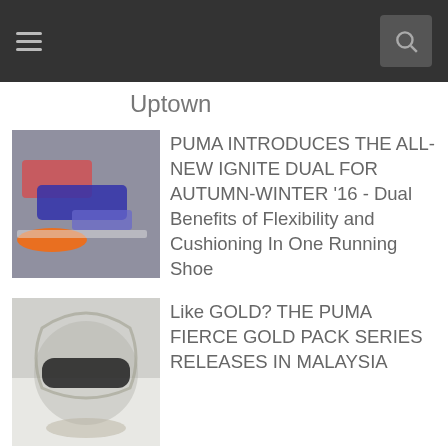≡  🔍
Uptown
[Figure (photo): Puma Ignite Dual running shoes in blue, purple and orange colorway on a surface]
PUMA INTRODUCES THE ALL-NEW IGNITE DUAL FOR AUTUMN-WINTER '16 - Dual Benefits of Flexibility and Cushioning In One Running Shoe
[Figure (photo): Puma Fierce Gold pack shoe displayed with rope on white surface]
Like GOLD? THE PUMA FIERCE GOLD PACK SERIES RELEASES IN MALAYSIA
[Figure (photo): Golden Palace Restaurant food spread with dim sum and seafood dishes]
Golden Palace Restaurant at Pacific Palace Hotel, Batam